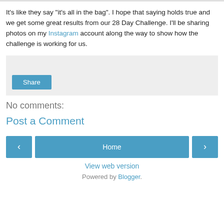It's like they say "it's all in the bag". I hope that saying holds true and we get some great results from our 28 Day Challenge. I'll be sharing photos on my Instagram account along the way to show how the challenge is working for us.
[Figure (other): Share widget box with a Share button]
No comments:
Post a Comment
< Home > navigation buttons and View web version link
Powered by Blogger.